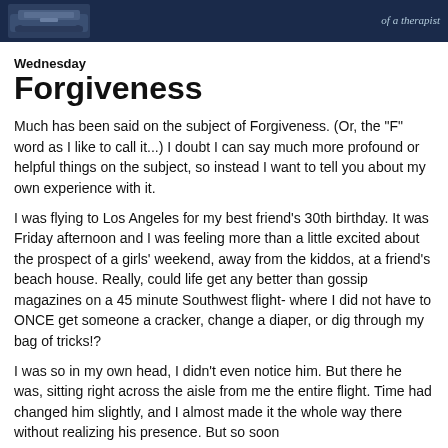[Figure (illustration): Dark navy header bar with a typewriter image on the left and cursive/italic text 'of a therapist' on the right]
Wednesday
Forgiveness
Much has been said on the subject of Forgiveness. (Or, the "F" word as I like to call it...) I doubt I can say much more profound or helpful things on the subject, so instead I want to tell you about my own experience with it.
I was flying to Los Angeles for my best friend's 30th birthday. It was Friday afternoon and I was feeling more than a little excited about the prospect of a girls' weekend, away from the kiddos, at a friend's beach house. Really, could life get any better than gossip magazines on a 45 minute Southwest flight- where I did not have to ONCE get someone a cracker, change a diaper, or dig through my bag of tricks!?
I was so in my own head, I didn't even notice him. But there he was, sitting right across the aisle from me the entire flight. Time had changed him slightly, and I almost made it the whole way there without realizing his presence. But so soon